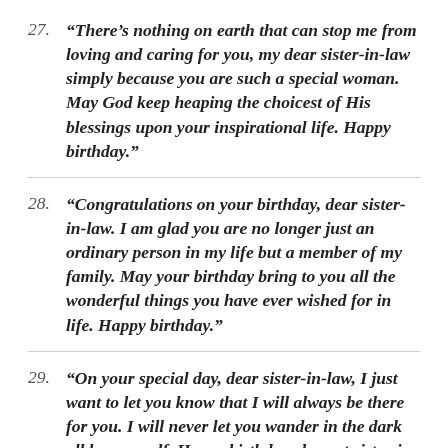27. “There’s nothing on earth that can stop me from loving and caring for you, my dear sister-in-law simply because you are such a special woman. May God keep heaping the choicest of His blessings upon your inspirational life. Happy birthday.”
28. “Congratulations on your birthday, dear sister-in-law. I am glad you are no longer just an ordinary person in my life but a member of my family. May your birthday bring to you all the wonderful things you have ever wished for in life. Happy birthday.”
29. “On your special day, dear sister-in-law, I just want to let you know that I will always be there for you. I will never let you wander in the dark all by yourself. Happy birthday, dearest sister-in-…